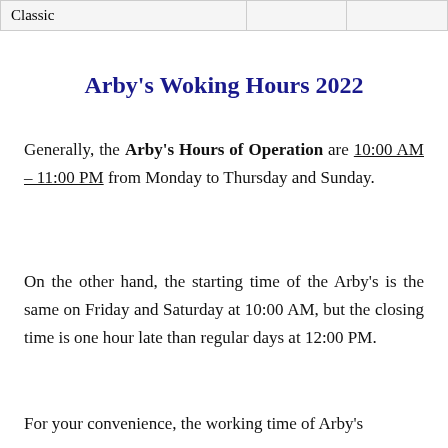| Classic |  |  |
Arby's Woking Hours 2022
Generally, the Arby's Hours of Operation are 10:00 AM – 11:00 PM from Monday to Thursday and Sunday.
On the other hand, the starting time of the Arby's is the same on Friday and Saturday at 10:00 AM, but the closing time is one hour late than regular days at 12:00 PM.
For your convenience, the working time of Arby's